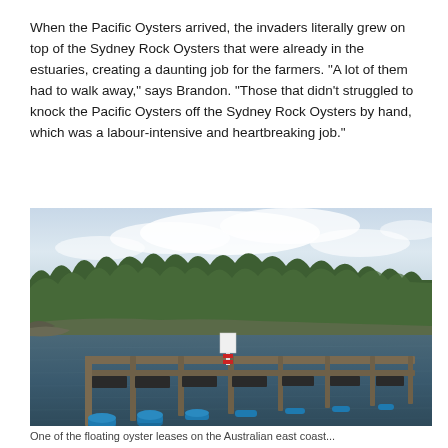When the Pacific Oysters arrived, the invaders literally grew on top of the Sydney Rock Oysters that were already in the estuaries, creating a daunting job for the farmers. "A lot of them had to walk away," says Brandon. "Those that didn't struggled to knock the Pacific Oysters off the Sydney Rock Oysters by hand, which was a labour-intensive and heartbreaking job."
[Figure (photo): Aerial/water-level photograph of an oyster farm floating structure on a calm estuary, with blue flotation barrels and wooden walkways extending into the water. Dense green trees line the far shore under a partly cloudy sky.]
One of the floating oyster leases on the Australian east coast...